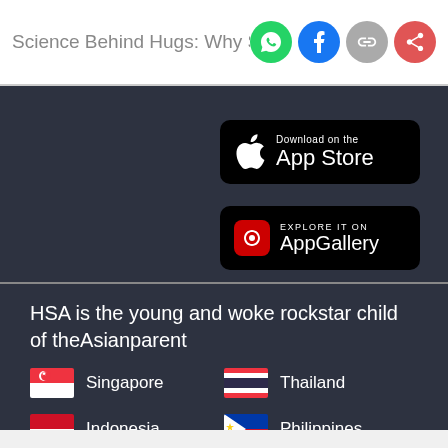Science Behind Hugs: Why Some Pe
[Figure (logo): App Store download button (black, Apple logo)]
[Figure (logo): Huawei AppGallery explore button (black, Huawei red logo)]
HSA is the young and woke rockstar child of theAsianparent
Singapore
Thailand
Indonesia
Philippines